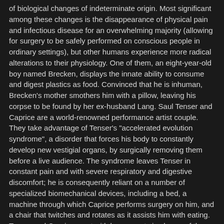of biological changes of indeterminate origin. Most significant among these changes is the disappearance of physical pain and infectious disease for an overwhelming majority (allowing for surgery to be safely performed on conscious people in ordinary settings), but other humans experience more radical alterations to their physiology. One of them, an eight-year-old boy named Brecken, displays the innate ability to consume and digest plastics as food. Convinced that he is inhuman, Brecken's mother smothers him with a pillow, leaving his corpse to be found by her ex-husband Lang. Saul Tenser and Caprice are a world-renowned performance artist couple. They take advantage of Tenser's "accelerated evolution syndrome", a disorder that forces his body to constantly develop new vestigial organs, by surgically removing them before a live audience. The syndrome leaves Tenser in constant pain and with severe respiratory and digestive discomfort; he is consequently reliant on a number of specialized biomechanical devices, including a bed, a machine through which Caprice performs surgery on him, and a chair that twitches and rotates as it assists him with eating. Tenser and Caprice meet with bureaucrats in charge of the National Organ Registry, a governmental office designed to uphold the state's restrictions on human evolution by cataloguing and storing newly evolved organs. One of the bureaucrats, the nervy Timlin, becomes captivated by Tenser's artistic goals. At a successful show of Tenser's, she tells him that "surgery is the new sex", a sentiment that Tenser appears to embrace." After about twenty minutes, my finger was hovering above the off switch, but we struggled on to the end. Wish I hadn't. What a waste of good